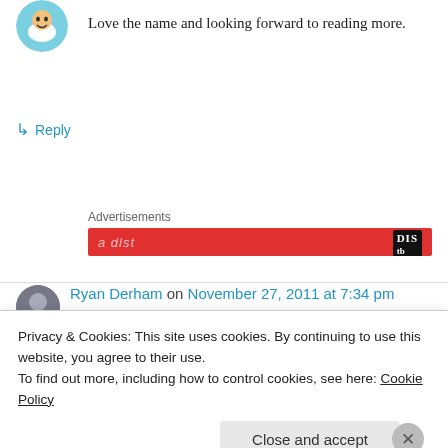[Figure (illustration): Circular avatar icon at top left, cartoon face style]
Love the name and looking forward to reading more.
↳ Reply
Advertisements
[Figure (illustration): Red advertisement banner with white text and DIS logo]
[Figure (photo): Circular avatar photo of Ryan Derham]
Ryan Derham on November 27, 2011 at 7:34 pm
So mixing two mythologies and bound to have
Privacy & Cookies: This site uses cookies. By continuing to use this website, you agree to their use.
To find out more, including how to control cookies, see here: Cookie Policy
Close and accept